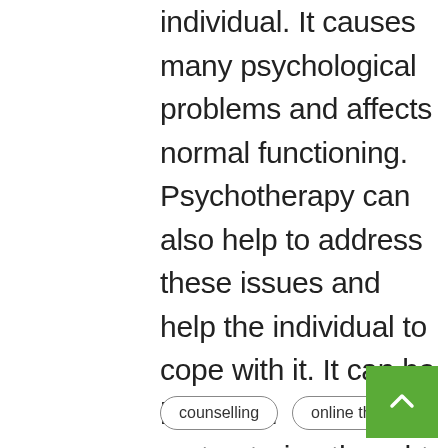individual. It causes many psychological problems and affects normal functioning. Psychotherapy can also help to address these issues and help the individual to cope with it. It can be helpful in restructuring thought patterns and overcome these feelings.
counselling
online therapy